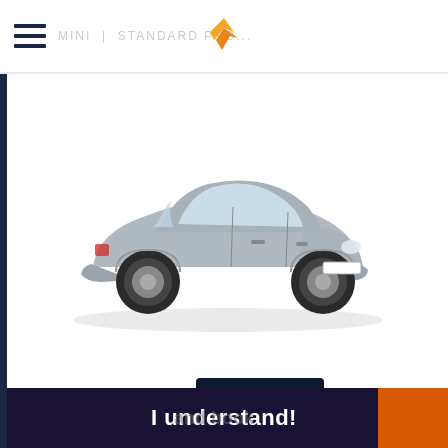Mini | STANDARD PROTECTION
[Figure (photo): Silver Nissan Pixo / small hatchback car, side-front view on white background]
Provider: interrent
Terms and conditions
pick-up   Heraklion Airport
drop-off  Heraklion Airport
drop-off on airport
Our site uses cookies. For more information please read About Cookies and Privacy policy
€39.94
price for 1 day
I understand!